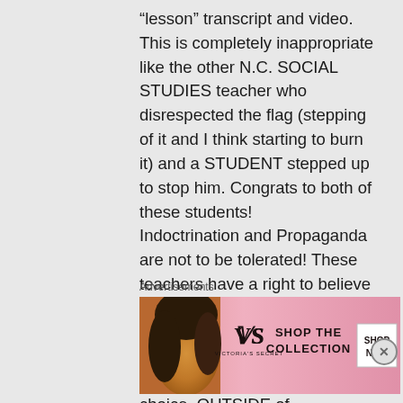“lesson” transcript and video. This is completely inappropriate like the other N.C. SOCIAL STUDIES teacher who disrespected the flag (stepping of it and I think starting to burn it) and a STUDENT stepped up to stop him. Congrats to both of these students! Indoctrination and Propaganda are not to be tolerated! These teachers have a right to believe as they choose and they can VOTE their consciences and even join in the political campaign groups of their choice, OUTSIDE of school…that is their method to
Advertisements
[Figure (photo): Victoria's Secret advertisement banner with a model photo on the left, Victoria's Secret logo in the center, and 'SHOP THE COLLECTION' text with a 'SHOP NOW' button on the right. Pink/rose gradient background.]